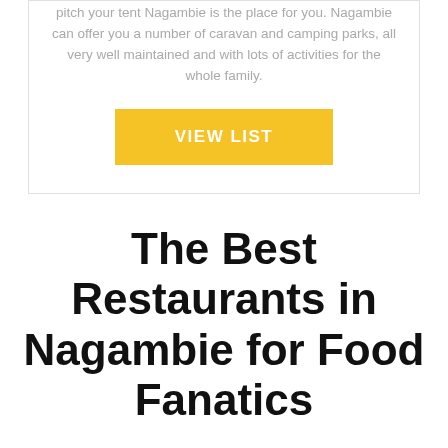pitch your tent Nagambie is the place for you. Nagambie can offer you a number of caravan and camping parks, all very well maintained and with lots of activities for the whole family.
VIEW LIST
The Best Restaurants in Nagambie for Food Fanatics